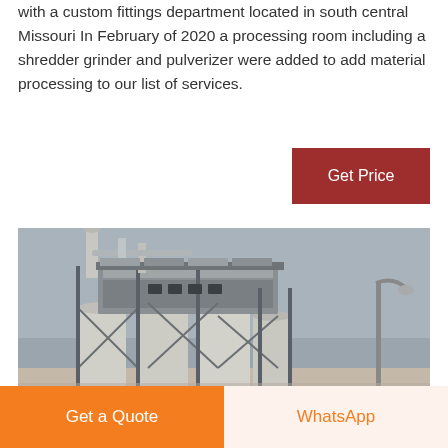with a custom fittings department located in south central Missouri In February of 2020 a processing room including a shredder grinder and pulverizer were added to add material processing to our list of services.
[Figure (other): Red/dark-red rectangular button labeled 'Get Price']
[Figure (photo): Industrial facility with large silos, metal framework, pipes/stacks, and a street lamp under a grey sky]
Get a Quote
WhatsApp